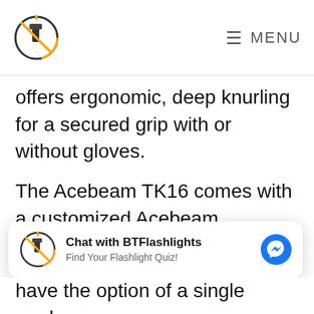BTFlashlights — MENU
offers ergonomic, deep knurling for a secured grip with or without gloves.
The Acebeam TK16 comes with a customized Acebeam IMR1634NP-550A Li-Ion battery, but it is also compatible with a CR123A battery. Using the included customized battery provides better results and more
Chat with BTFlashlights
Find Your Flashlight Quiz!
have the option of a single mode,